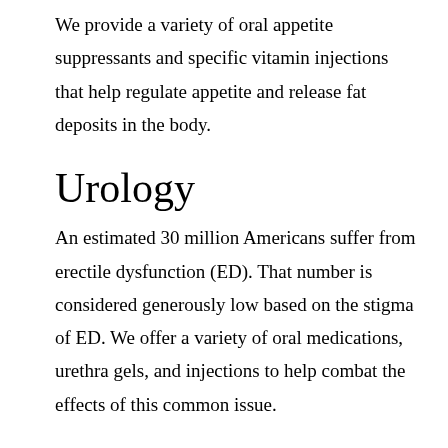We provide a variety of oral appetite suppressants and specific vitamin injections that help regulate appetite and release fat deposits in the body.
Urology
An estimated 30 million Americans suffer from erectile dysfunction (ED). That number is considered generously low based on the stigma of ED. We offer a variety of oral medications, urethra gels, and injections to help combat the effects of this common issue.
Ophthalmic
Preparations are sterile, free from foreign